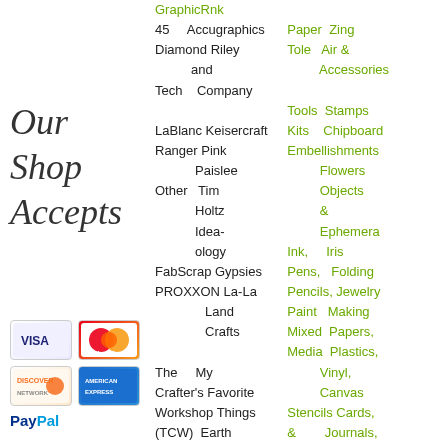OUR SHOP ACCEPTS
[Figure (other): Payment icons: Visa, MasterCard, Discover, American Express, PayPal]
GraphicRnk
45 Accugraphics
Diamond Riley and Company
Tech
LaBlanc Keisercraft
Ranger Pink
Paislee
Other Tim Holtz Idea-ology
FabScrap Gypsies
PROXXON La-La Land Crafts
The Crafter's Workshop (TCW) My Favorite Things Earth
Paper Tole Zing Air & Accessories
Tools Stamps
Kits Chipboard
Embellishments Flowers Objects & Ephemera
Ink, Pens, Pencils, Paint Mixed Media Iris Folding Jewelry Making Papers, Plastics, Vinyl, Canvas
Stencils & Cards, Journals,